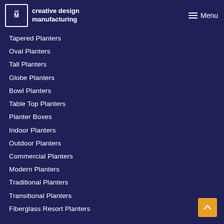creative design manufacturing | Menu
Tapered Planters
Oval Planters
Tall Planters
Globe Planters
Bowl Planters
Table Top Planters
Planter Boxes
Indoor Planters
Outdoor Planters
Commercial Planters
Modern Planters
Traditional Planters
Transitional Planters
Fiberglass Resort Planters